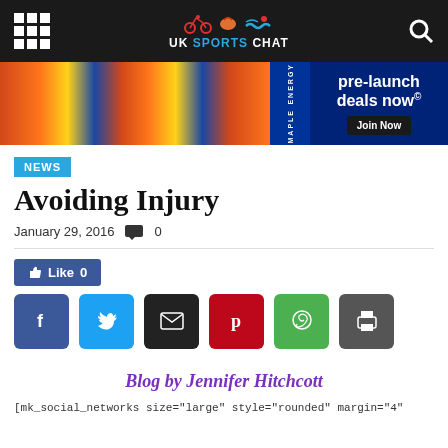UK SPORTS CHAT
[Figure (photo): Banner advertisement for Maple Energy with pre-launch deals, colorful food product packaging in background, text: pre-launch deals now, Join Now]
NEWS
Avoiding Injury
January 29, 2016   0
Like 0
[Figure (infographic): Row of social share buttons: Facebook, Twitter, Email, Pinterest, WhatsApp, Print]
Blog by Jennifer Hitchcott
[mk_social_networks size="large" style="rounded" margin="4"